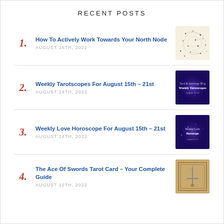RECENT POSTS
How To Actively Work Towards Your North Node
Weekly Tarotscopes For August 15th – 21st
Weekly Love Horoscope For August 15th – 21st
The Ace Of Swords Tarot Card – Your Complete Guide